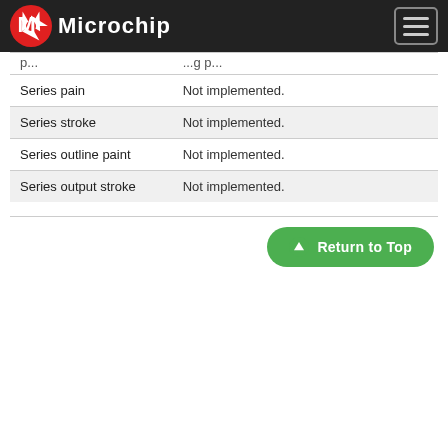Microchip
|  |  |
| --- | --- |
| Series pain | Not implemented. |
| Series stroke | Not implemented. |
| Series outline paint | Not implemented. |
| Series output stroke | Not implemented. |
Return to Top